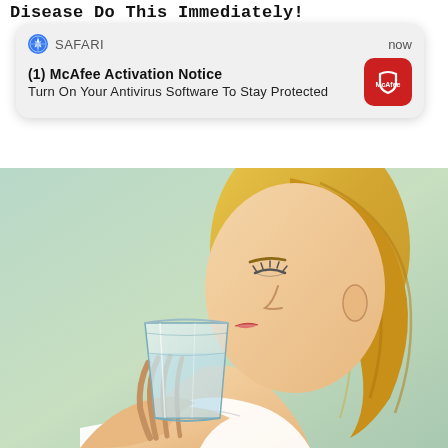Disease Do This Immediately!
[Figure (screenshot): iOS Safari browser push notification popup from McAfee. Header row shows Safari compass icon, text 'SAFARI' on left and 'now' on right. Body shows bold title '(1) McAfee Activation Notice' and subtitle 'Turn On Your Antivirus Software To Stay Protected'. McAfee red shield logo icon on the right side.]
[Figure (illustration): Illustration of a blonde woman with eyes closed drinking from a clear glass of water, shown in profile view against a light green/teal background. She is wearing or wrapped in white fabric at the bottom.]